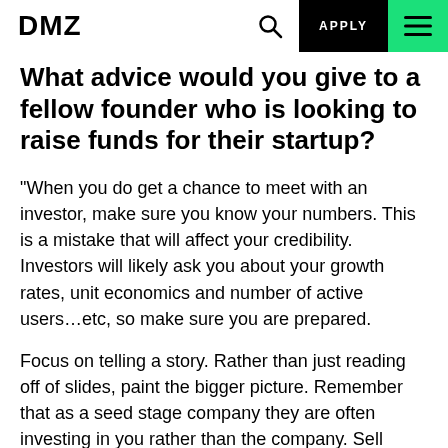DMZ | APPLY
What advice would you give to a fellow founder who is looking to raise funds for their startup?
“When you do get a chance to meet with an investor, make sure you know your numbers. This is a mistake that will affect your credibility. Investors will likely ask you about your growth rates, unit economics and number of active users…etc, so make sure you are prepared.
Focus on telling a story. Rather than just reading off of slides, paint the bigger picture. Remember that as a seed stage company they are often investing in you rather than the company. Sell